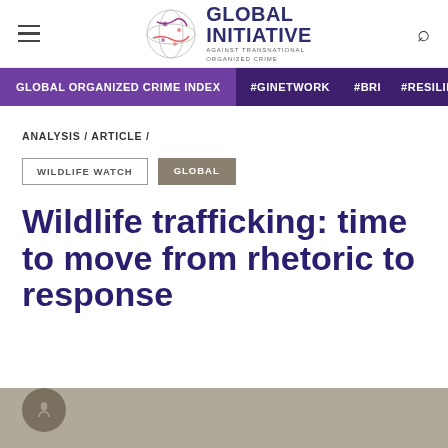[Figure (logo): Global Initiative Against Transnational Organized Crime logo with globe icon and text]
GLOBAL ORGANIZED CRIME INDEX  #GINETWORK  #BRI  #RESILIENCE
ANALYSIS / ARTICLE /
WILDLIFE WATCH  GLOBAL
Wildlife trafficking: time to move from rhetoric to response